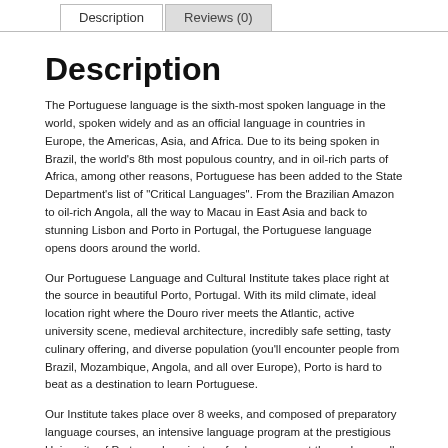Description | Reviews (0)
Description
The Portuguese language is the sixth-most spoken language in the world, spoken widely and as an official language in countries in Europe, the Americas, Asia, and Africa. Due to its being spoken in Brazil, the world’s 8th most populous country, and in oil-rich parts of Africa, among other reasons, Portuguese has been added to the State Department’s list of “Critical Languages”. From the Brazilian Amazon to oil-rich Angola, all the way to Macau in East Asia and back to stunning Lisbon and Porto in Portugal, the Portuguese language opens doors around the world.
Our Portuguese Language and Cultural Institute takes place right at the source in beautiful Porto, Portugal. With its mild climate, ideal location right where the Douro river meets the Atlantic, active university scene, medieval architecture, incredibly safe setting, tasty culinary offering, and diverse population (you’ll encounter people from Brazil, Mozambique, Angola, and all over Europe), Porto is hard to beat as a destination to learn Portuguese.
Our Institute takes place over 8 weeks, and composed of preparatory language courses, an intensive language program at the prestigious University of Porto, and a private refresher course at the end, as well as cultural…